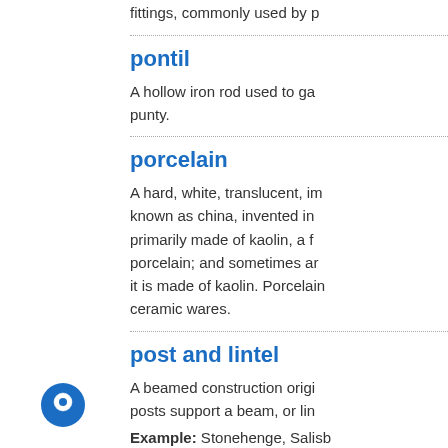fittings, commonly used by p
pontil
A hollow iron rod used to ga punty.
porcelain
A hard, white, translucent, im known as china, invented in primarily made of kaolin, a f porcelain; and sometimes ar it is made of kaolin. Porcelain ceramic wares.
post and lintel
A beamed construction origi posts support a beam, or lin
Example: Stonehenge, Salisb